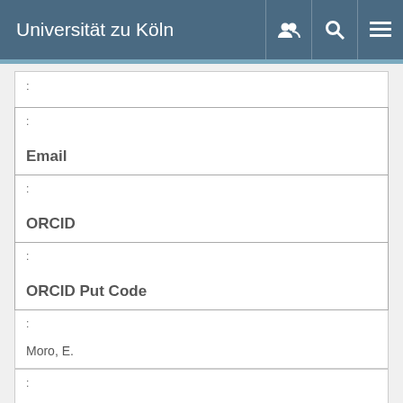Universität zu Köln
:
| : Email |
| : ORCID |
| : ORCID Put Code |
: Moro, E.
: UNSPECIFIED
: UNSPECIFIED
: